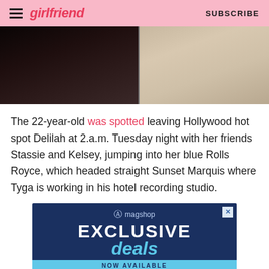girlfriend | SUBSCRIBE
[Figure (photo): Two side-by-side cropped photos: left shows dark scene, right shows lighter pink/beige tones]
The 22-year-old was spotted leaving Hollywood hot spot Delilah at 2.a.m. Tuesday night with her friends Stassie and Kelsey, jumping into her blue Rolls Royce, which headed straight Sunset Marquis where Tyga is working in his hotel recording studio.
[Figure (other): Advertisement banner for magshop featuring 'EXCLUSIVE deals NOW AVAILABLE' text on dark blue background]